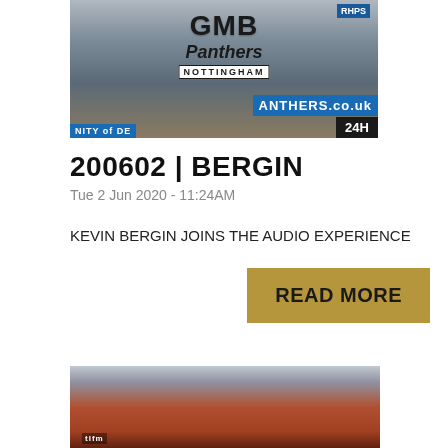[Figure (photo): Ice hockey player in white Nottingham Panthers GMB jersey with arms raised, advertising boards in background including ANTHERS.co.uk]
200602 | BERGIN
Tue 2 Jun 2020 - 11:24AM
KEVIN BERGIN JOINS THE AUDIO EXPERIENCE
READ MORE
[Figure (photo): Ice hockey player smiling in red jersey wearing helmet, with another helmeted player visible to the right]